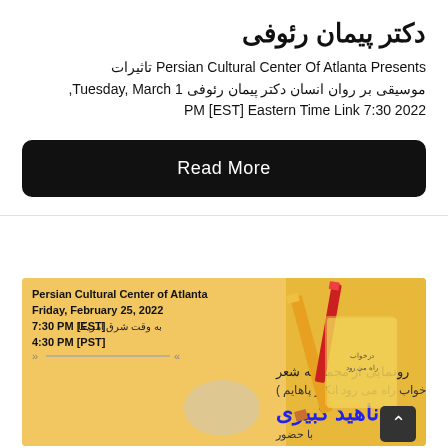دکتر پیمان رئوفی
Persian Cultural Center Of Atlanta Presents تاثیرات موسیقی بر روان انسان دکتر پیمان رئوفی Tuesday, March 1, 2022 7:30 PM [EST] Eastern Time Link
Read More
[Figure (infographic): Event poster for Persian Cultural Center of Atlanta, Friday February 25 2022, 7:30 PM [EST] / 4:30 PM [PST], poetry book launch event in Persian and English, featuring ناهید کبیری (Nahid Kabiri), with pencils and book imagery on yellow background]